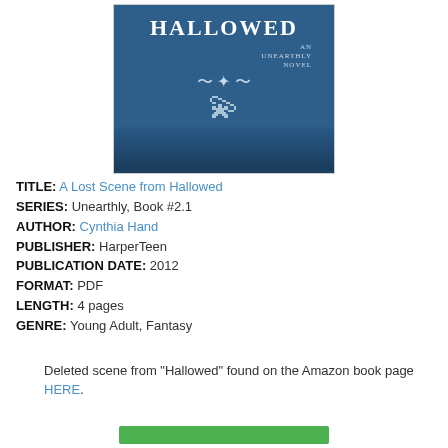[Figure (illustration): Book cover of 'Hallowed' by Cynthia Hand — An Unearthly Novel. Dark blue/teal background with large white text 'HALLOWED', decorative swirls and a feather, author name 'CYNTHIA HAND' at the bottom.]
TITLE: A Lost Scene from Hallowed
SERIES: Unearthly, Book #2.1
AUTHOR: Cynthia Hand
PUBLISHER: HarperTeen
PUBLICATION DATE: 2012
FORMAT: PDF
LENGTH: 4 pages
GENRE: Young Adult, Fantasy
Deleted scene from "Hallowed" found on the Amazon book page HERE.